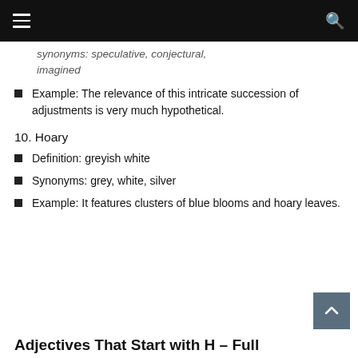≡   Q
synonyms: speculative, conjectural, imagined
Example: The relevance of this intricate succession of adjustments is very much hypothetical.
10. Hoary
Definition: greyish white
Synonyms: grey, white, silver
Example: It features clusters of blue blooms and hoary leaves.
Adjectives That Start with H – Full